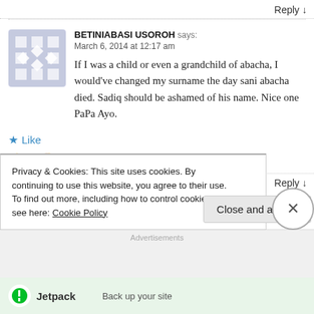Reply
BETINIABASI USOROH says:
March 6, 2014 at 12:17 am
If I was a child or even a grandchild of abacha, I would've changed my surname the day sani abacha died. Sadiq should be ashamed of his name. Nice one PaPa Ayo.
★ Like
👍 3 👎 0 🔵 Rate This
Reply
Privacy & Cookies: This site uses cookies. By continuing to use this website, you agree to their use.
To find out more, including how to control cookies, see here: Cookie Policy
Close and accept
Advertisements
[Figure (logo): Jetpack by WordPress.com bar - Back up your site]